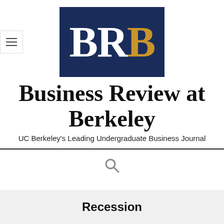[Figure (logo): BRB logo — dark navy blue rectangle with large white letters B, R and gold letter B spelling BRB]
Business Review at Berkeley
UC Berkeley's Leading Undergraduate Business Journal
[Figure (other): Search magnifying glass icon]
Recession